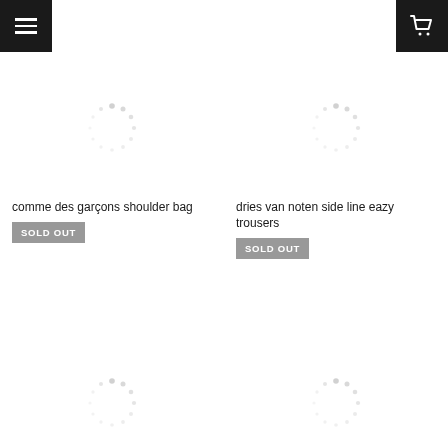Menu | Cart
comme des garçons shoulder bag
SOLD OUT
dries van noten side line eazy trousers
SOLD OUT
[Figure (other): Loading spinner dots circle - product image placeholder top-left]
[Figure (other): Loading spinner dots circle - product image placeholder top-right]
[Figure (other): Loading spinner dots circle - product image placeholder bottom-left]
[Figure (other): Loading spinner dots circle - product image placeholder bottom-right]